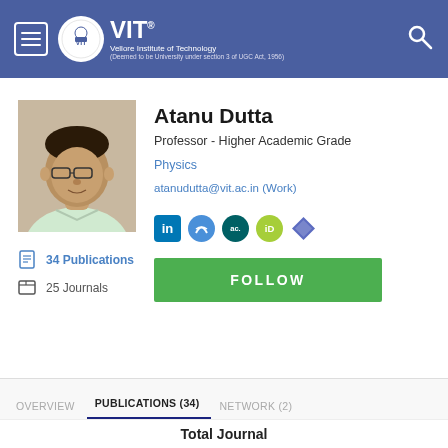[Figure (logo): VIT Vellore Institute of Technology header logo with navigation hamburger menu and search icon on blue background]
[Figure (photo): Profile photo of Atanu Dutta, a man with glasses wearing a light colored shirt]
Atanu Dutta
Professor - Higher Academic Grade
Physics
atanudutta@vit.ac.in (Work)
[Figure (infographic): Row of social media icons: LinkedIn, Semantic Scholar, Academia.edu, ORCID, Impactstory]
FOLLOW
34 Publications
25 Journals
OVERVIEW   PUBLICATIONS (34)   NETWORK (2)